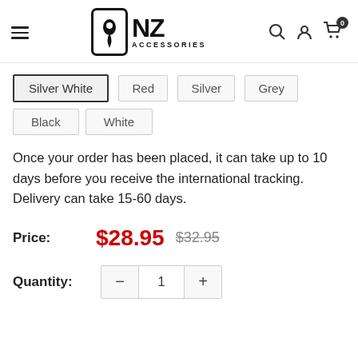[Figure (logo): NZ Accessories logo with hamburger menu, search, account, and cart icons in the header]
Silver White
Red
Silver
Grey
Black
White
Once your order has been placed, it can take up to 10 days before you receive the international tracking. Delivery can take 15-60 days.
Price: $28.95  $32.95
Quantity: − 1 +